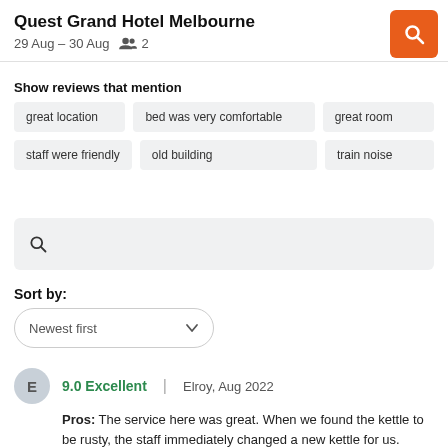Quest Grand Hotel Melbourne
29 Aug – 30 Aug  👥 2
Show reviews that mention
great location
bed was very comfortable
great room
staff were friendly
old building
train noise
Sort by:
Newest first
9.0 Excellent | Elroy, Aug 2022
Pros: The service here was great. When we found the kettle to be rusty, the staff immediately changed a new kettle for us.
Cons: There weren't many places to hang stuff within the